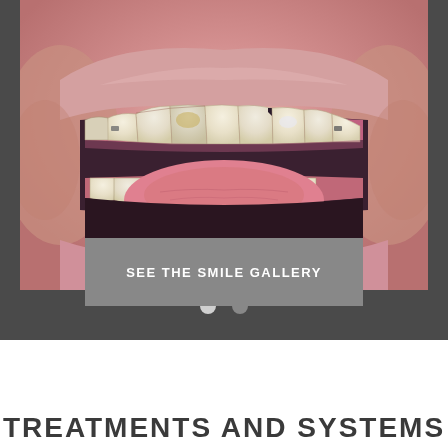[Figure (photo): Close-up photograph of a patient's open mouth showing upper and lower teeth with dental work/crowns, labeled 'AFTER'. The teeth show a mix of natural and restored teeth with some yellowing and orthodontic hardware visible.]
AFTER
[Figure (infographic): Carousel navigation dots — one white/light active dot and one gray inactive dot, indicating image slideshow position.]
SEE THE SMILE GALLERY
TREATMENTS AND SYSTEMS